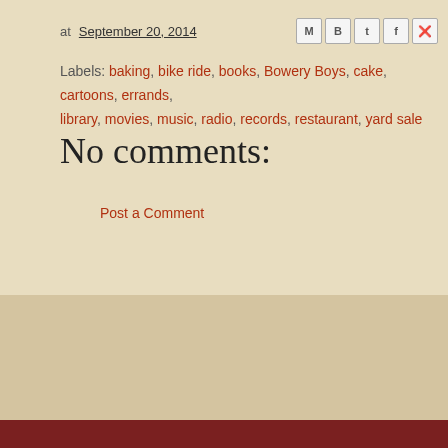at September 20, 2014
Labels: baking, bike ride, books, Bowery Boys, cake, cartoons, errands, library, movies, music, radio, records, restaurant, yard sale
No comments:
Post a Comment
Newer Post
Home
Subscribe to: Post Comments (Atom)